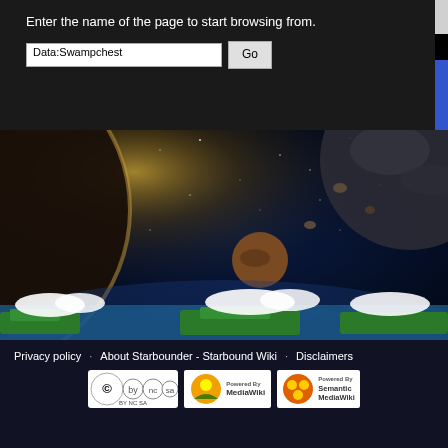Enter the name of the page to start browsing from.
Data:Swampchest
[Figure (screenshot): Space scene showing planets, asteroids, and a pixel-art Earth surface with clouds in Starbound style]
Privacy policy   About Starbounder - Starbound Wiki   Disclaimers   Powered by MediaWiki   Powered by Semantic MediaWiki